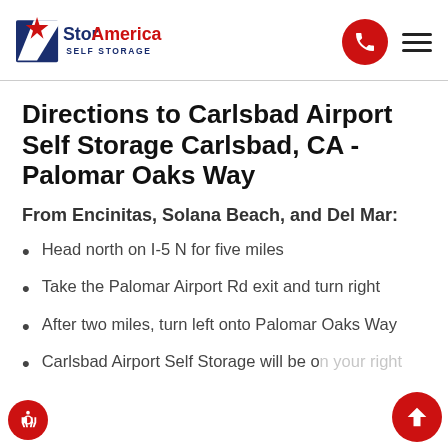StorAmerica Self Storage
Directions to Carlsbad Airport Self Storage Carlsbad, CA - Palomar Oaks Way
From Encinitas, Solana Beach, and Del Mar:
Head north on I-5 N for five miles
Take the Palomar Airport Rd exit and turn right
After two miles, turn left onto Palomar Oaks Way
Carlsbad Airport Self Storage will be on your right